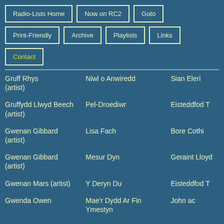Radio-Lists Home
Now on RC2
Goto
Print-Friendly
Archive
Playlists
Links
Contact
| Artist | Track | Programme |
| --- | --- | --- |
| Gruff Rhys (artist) | Niwl o Anwiredd | Sian Eleri |
| Gruffydd Llwyd Beech (artist) | Pel-Droediwr | Eisteddfod T |
| Gwenan Gibbard (artist) | Lisa Fach | Bore Cothi |
| Gwenan Gibbard (artist) | Mesur Dyn | Geraint Lloyd |
| Gwenan Mars (artist) | Y Deryn Du | Eisteddfod T |
| Gwenda Owen | Mae'r Dydd Ar Fin Ymestyn | John ac |